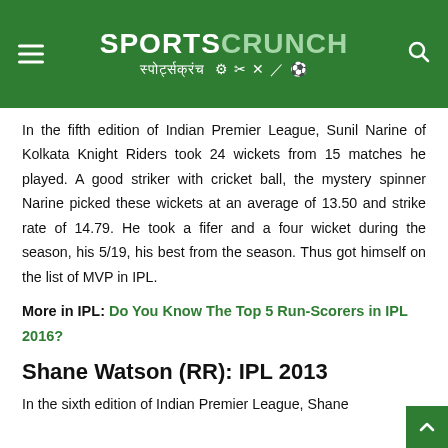SPORTS CRUNCH स्पोर्ट्सक्रंच
In the fifth edition of Indian Premier League, Sunil Narine of Kolkata Knight Riders took 24 wickets from 15 matches he played. A good striker with cricket ball, the mystery spinner Narine picked these wickets at an average of 13.50 and strike rate of 14.79. He took a fifer and a four wicket during the season, his 5/19, his best from the season. Thus got himself on the list of MVP in IPL.
More in IPL: Do You Know The Top 5 Run-Scorers in IPL 2016?
Shane Watson (RR): IPL 2013
In the sixth edition of Indian Premier League, Shane